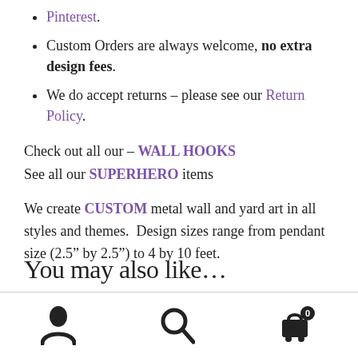Pinterest.
Custom Orders are always welcome, no extra design fees.
We do accept returns – please see our Return Policy.
Check out all our – WALL HOOKS
See all our SUPERHERO items
We create CUSTOM metal wall and yard art in all styles and themes.  Design sizes range from pendant size (2.5" by 2.5") to 4 by 10 feet.
You may also like…
[user icon] [search icon] [cart icon with 0]